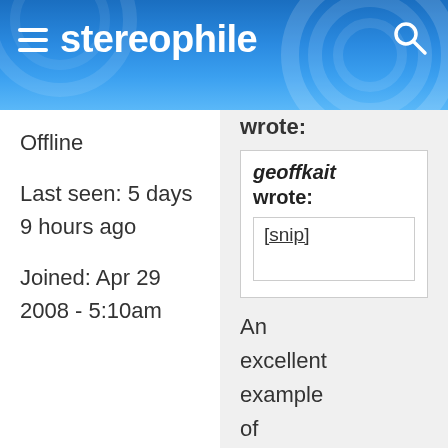stereophile
wrote:
Offline
Last seen: 5 days 9 hours ago
Joined: Apr 29 2008 - 5:10am
geoffkait wrote: [snip] An excellent example of a troll with